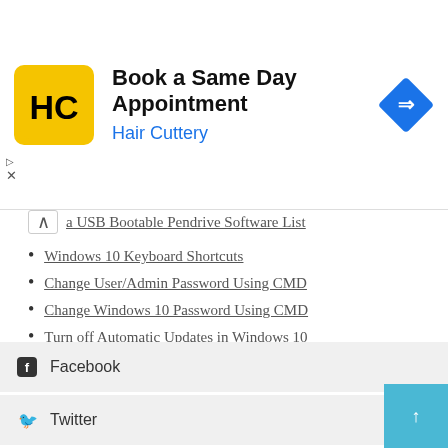[Figure (other): Hair Cuttery advertisement banner: logo (HC on yellow rounded square), title 'Book a Same Day Appointment', subtitle 'Hair Cuttery' in blue, blue diamond navigation icon on right. Close controls at bottom left.]
a USB Bootable Pendrive Software List
Windows 10 Keyboard Shortcuts
Change User/Admin Password Using CMD
Change Windows 10 Password Using CMD
Turn off Automatic Updates in Windows 10
Clear the Local DNS Cache in Windows
How to Install HTOP in Linux
Advanced Monitoring Tool, eDEX-UI, Fullscreen Terminal, Linux, macOS, Windows
Facebook
Twitter